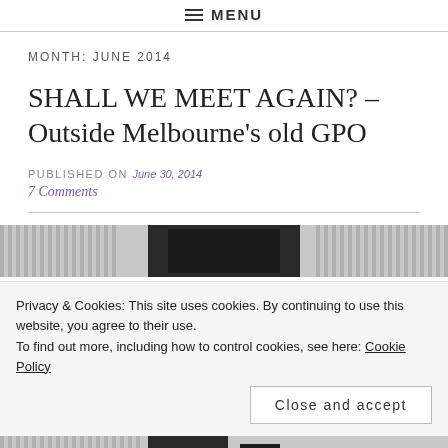≡ MENU
MONTH: JUNE 2014
SHALL WE MEET AGAIN? – Outside Melbourne's old GPO
PUBLISHED ON June 30, 2014
7 Comments
[Figure (photo): Black and white photo strip showing architectural columns/pillars]
Privacy & Cookies: This site uses cookies. By continuing to use this website, you agree to their use.
To find out more, including how to control cookies, see here: Cookie Policy
Close and accept
[Figure (photo): Partial black and white photo strip at bottom]